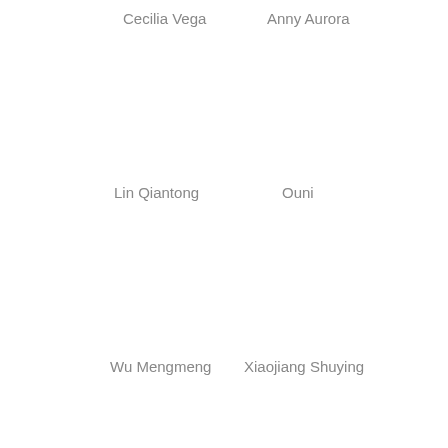Cecilia Vega
Anny Aurora
Lin Qiantong
Ouni
Wu Mengmeng
Xiaojiang Shuying